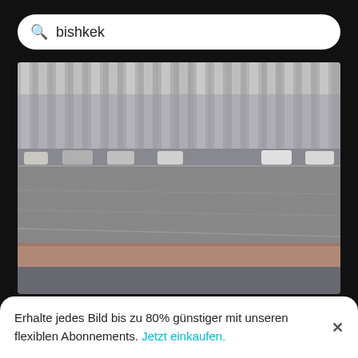bishkek
[Figure (photo): Photo of Bishkek city showing a large Soviet-era building with massive concrete columns, a wide open plaza and road in the foreground, cars parked near the building, overcast sky.]
Bishkek the city
[Figure (photo): Partial photo of a cityscape, cut off by a toast notification overlay.]
Erhalte jedes Bild bis zu 80% günstiger mit unseren flexiblen Abonnements. Jetzt einkaufen.